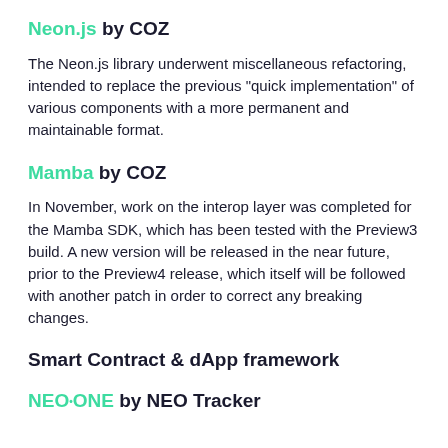Neon.js by COZ
The Neon.js library underwent miscellaneous refactoring, intended to replace the previous "quick implementation" of various components with a more permanent and maintainable format.
Mamba by COZ
In November, work on the interop layer was completed for the Mamba SDK, which has been tested with the Preview3 build. A new version will be released in the near future, prior to the Preview4 release, which itself will be followed with another patch in order to correct any breaking changes.
Smart Contract & dApp framework
NEO•ONE by NEO Tracker